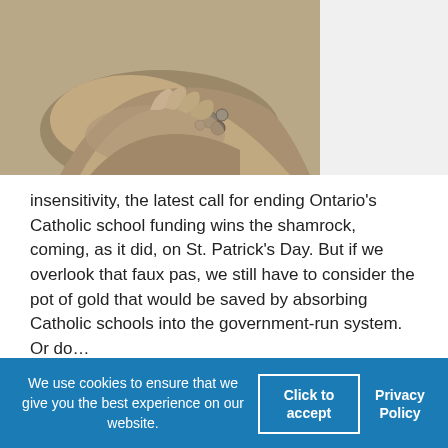[Figure (photo): Sepia-toned photograph of hands, one wearing a beaded bracelet, appearing to offer or hold something]
insensitivity, the latest call for ending Ontario's Catholic school funding wins the shamrock, coming, as it did, on St. Patrick's Day. But if we overlook that faux pas, we still have to consider the pot of gold that would be saved by absorbing Catholic schools into the government-run system. Or do…
Religious ignorance is on the rise, but we can combat
We use cookies to ensure that we give you the best experience on our website.
Click to accept
Privacy Policy